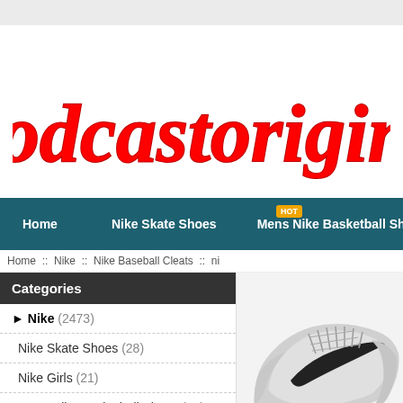[Figure (logo): podcastorigins logo in red italic script font]
Home :: Nike Skate Shoes :: Mens Nike Basketball Shoes (nav bar)
Home :: Nike :: Nike Baseball Cleats :: ni
Categories
Nike (2473)
Nike Skate Shoes (28)
Nike Girls (21)
Mens Nike Basketball Shoes (24)
All Black Nike Shoes (18)
Black Nike Shoes Mens (22)
Nike Adapt Bb 2.0 (19)
Nike Air Force 1 07 Womens (19)
[Figure (photo): Nike baseball cleat shoe, grey and white with black swoosh and cleats on bottom, shown on white/light grey background]